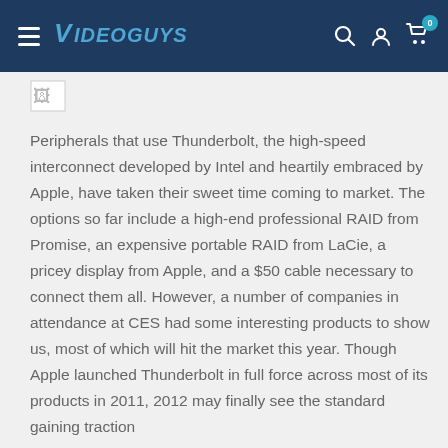Videoguys
[Figure (other): Broken image placeholder thumbnail]
Peripherals that use Thunderbolt, the high-speed interconnect developed by Intel and heartily embraced by Apple, have taken their sweet time coming to market. The options so far include a high-end professional RAID from Promise, an expensive portable RAID from LaCie, a pricey display from Apple, and a $50 cable necessary to connect them all. However, a number of companies in attendance at CES had some interesting products to show us, most of which will hit the market this year. Though Apple launched Thunderbolt in full force across most of its products in 2011, 2012 may finally see the standard gaining traction